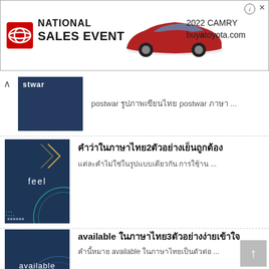[Figure (screenshot): Toyota National Sales Event advertisement banner for 2022 Camry with buyatoyota.com URL]
postwar [Thai characters] postwar [Thai characters] ...
[Figure (illustration): Dark blue thumbnail with 'feel' text and decorative geometric lines]
[Thai characters]2[Thai characters]
[Thai characters] ...
[Figure (illustration): Dark blue thumbnail with 'available' text and circular graphic]
available [Thai characters]3[Thai characters]
[Thai characters] available [Thai characters] ...